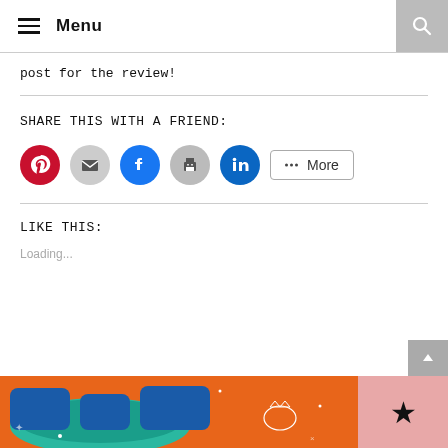Menu
post for the review!
SHARE THIS WITH A FRIEND:
[Figure (infographic): Social share buttons: Pinterest (red circle), Email (gray circle), Facebook (blue circle), Print (gray circle), LinkedIn (teal circle), More button]
LIKE THIS:
Loading...
[Figure (photo): Colorful orange background with blue and teal illustrated text, cartoon cat, and decorative elements. Bottom right has a pink section with a black star.]